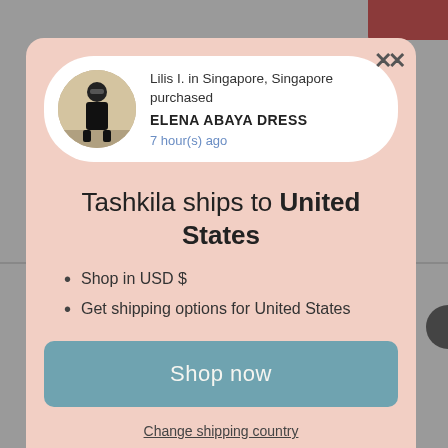[Figure (screenshot): Modal popup on a gray background. Contains a notification card with user avatar and purchase info, a heading about shipping to United States, bullet points, a Shop now button, and a Change shipping country link.]
Lilis I. in Singapore, Singapore purchased
ELENA ABAYA DRESS
7 hour(s) ago
Tashkila ships to United States
Shop in USD $
Get shipping options for United States
Shop now
Change shipping country